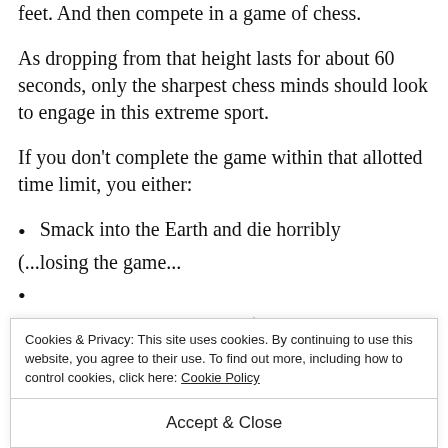feet. And then compete in a game of chess.
As dropping from that height lasts for about 60 seconds, only the sharpest chess minds should look to engage in this extreme sport.
If you don't complete the game within that allotted time limit, you either:
Smack into the Earth and die horribly (losing the game...
...
losing/drawing in the process).
Cookies & Privacy: This site uses cookies. By continuing to use this website, you agree to their use. To find out more, including how to control cookies, click here: Cookie Policy
Accept & Close